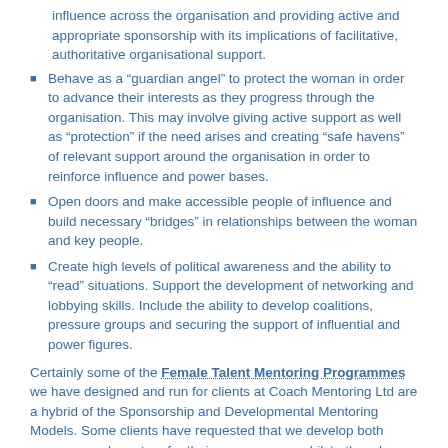influence across the organisation and providing active and appropriate sponsorship with its implications of facilitative, authoritative organisational support.
Behave as a “guardian angel” to protect the woman in order to advance their interests as they progress through the organisation. This may involve giving active support as well as “protection” if the need arises and creating “safe havens” of relevant support around the organisation in order to reinforce influence and power bases.
Open doors and make accessible people of influence and build necessary “bridges” in relationships between the woman and key people.
Create high levels of political awareness and the ability to “read” situations. Support the development of networking and lobbying skills. Include the ability to develop coalitions, pressure groups and securing the support of influential and power figures.
Certainly some of the Female Talent Mentoring Programmes we have designed and run for clients at Coach Mentoring Ltd are a hybrid of the Sponsorship and Developmental Mentoring Models. Some clients have requested that we develop both sponsors and mentors for their programmes, whilst others have just asked for pure sponsors.